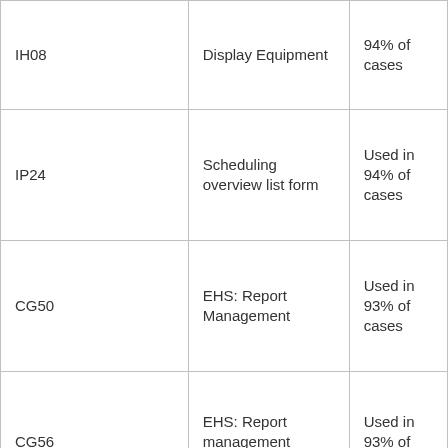| IH08 | Display Equipment | 94% of cases |
| IP24 | Scheduling overview list form | Used in 94% of cases |
| CG50 | EHS: Report Management | Used in 93% of cases |
| CG56 | EHS: Report management (release) | Used in 93% of cases |
| IQ09 | Display Material Serial Number | Used in 93% of cases |